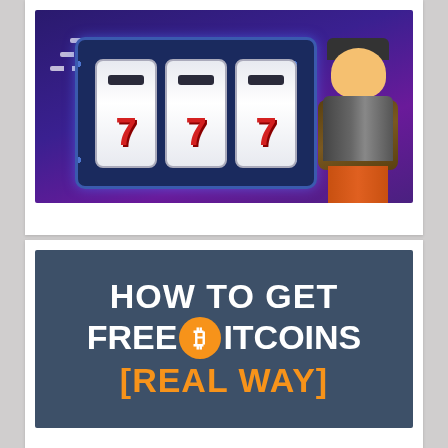[Figure (illustration): Casino slot machine showing 777 with a cartoon thief/bandit character holding money, on a purple/blue background with dashed speed lines]
[Figure (illustration): Dark teal/slate background image with bold white text 'HOW TO GET FREE BITCOINS' (with Bitcoin logo replacing the 'B' in BITCOINS) and orange text '[REAL WAY]']